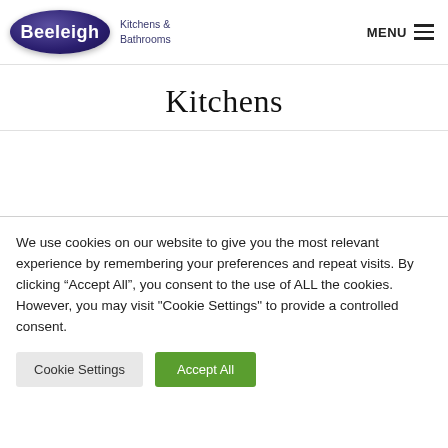Beeleigh Kitchens & Bathrooms | MENU
Kitchens
We use cookies on our website to give you the most relevant experience by remembering your preferences and repeat visits. By clicking “Accept All”, you consent to the use of ALL the cookies. However, you may visit "Cookie Settings" to provide a controlled consent.